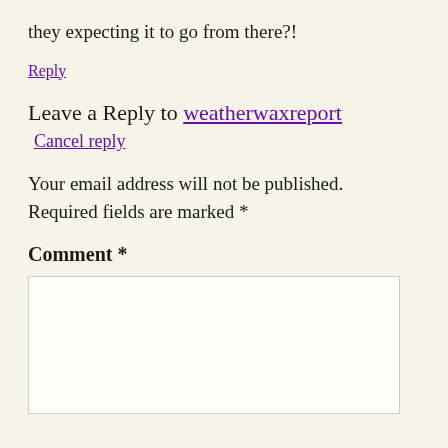they expecting it to go from there?!
Reply
Leave a Reply to weatherwaxreport
Cancel reply
Your email address will not be published. Required fields are marked *
Comment *